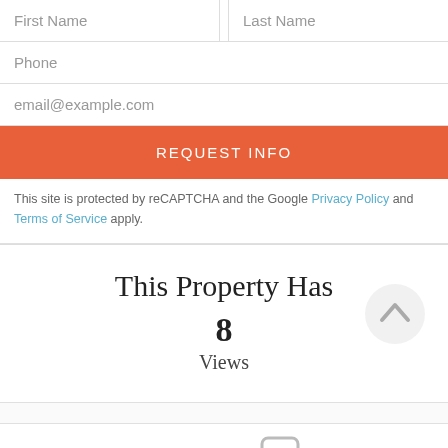First Name
Last Name
Phone
email@example.com
REQUEST INFO
This site is protected by reCAPTCHA and the Google Privacy Policy and Terms of Service apply.
This Property Has
8
Views